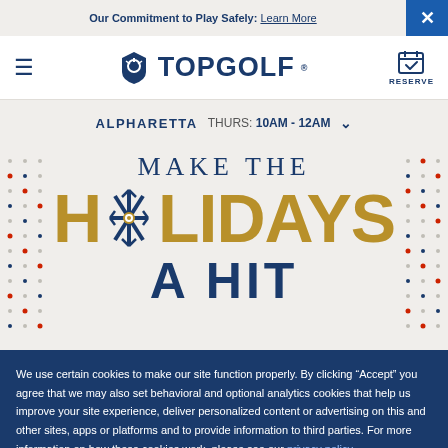Our Commitment to Play Safely: Learn More
[Figure (logo): Topgolf logo with shield icon]
ALPHARETTA  THURS: 10AM - 12AM
[Figure (illustration): MAKE THE HOLIDAYS A HIT promotional banner with decorative dot patterns and snowflake replacing O in HOLIDAYS]
We use certain cookies to make our site function properly. By clicking “Accept” you agree that we may also set behavioral and optional analytics cookies that help us improve your site experience, deliver personalized content or advertising on this and other sites, apps or platforms and to provide information to third parties. For more information on how these cookies work, please see our privacy policy.